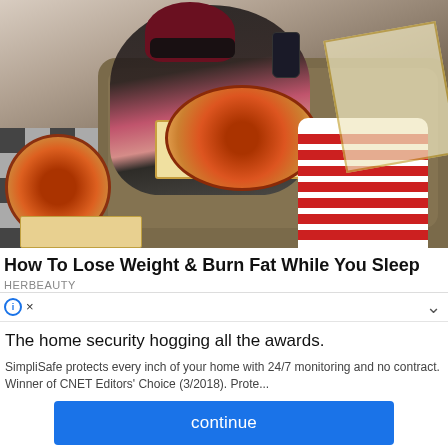[Figure (photo): Young woman with red hair and sunglasses lounging on a brown sofa, eating pizza and holding a drink, with pizza boxes and striped red-and-white socks. Checkered floor visible on the left.]
How To Lose Weight & Burn Fat While You Sleep
HERBEAUTY
⊙ ×
The home security hogging all the awards.
SimpliSafe protects every inch of your home with 24/7 monitoring and no contract. Winner of CNET Editors' Choice (3/2018). Prote...
continue